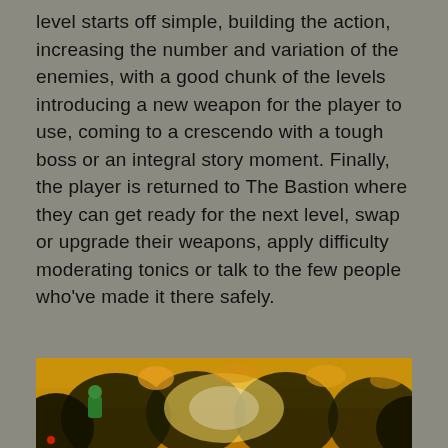level starts off simple, building the action, increasing the number and variation of the enemies, with a good chunk of the levels introducing a new weapon for the player to use, coming to a crescendo with a tough boss or an integral story moment. Finally, the player is returned to The Bastion where they can get ready for the next level, swap or upgrade their weapons, apply difficulty moderating tonics or talk to the few people who've made it there safely.
[Figure (photo): A screenshot from the video game Bastion showing a colorful scene with a character in green surrounded by golden/orange foliage and warm light.]